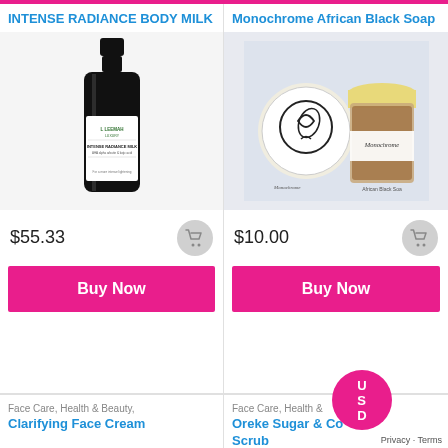INTENSE RADIANCE BODY MILK
[Figure (photo): Black bottle of Leemah Luxury Intense Radiance Milk body lotion with white label]
$55.33
Buy Now
Monochrome African Black Soap
[Figure (photo): Two containers of Monochrome African Black Soap - a round disc and a glass jar with yellow lid on light blue background]
$10.00
Buy Now
Face Care, Health & Beauty,
Clarifying Face Cream
Face Care, Health &
Oreke Sugar & Co Scrub